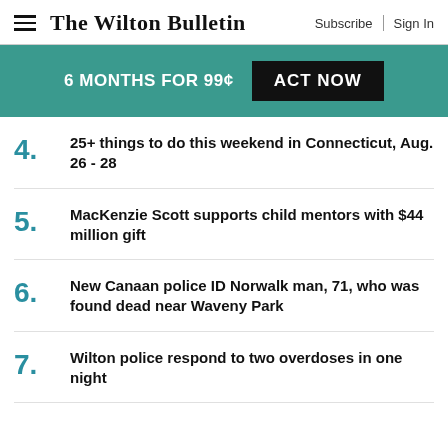The Wilton Bulletin | Subscribe | Sign In
[Figure (infographic): Teal promotional banner with text '6 MONTHS FOR 99¢' and black 'ACT NOW' button]
4. 25+ things to do this weekend in Connecticut, Aug. 26 - 28
5. MacKenzie Scott supports child mentors with $44 million gift
6. New Canaan police ID Norwalk man, 71, who was found dead near Waveny Park
7. Wilton police respond to two overdoses in one night